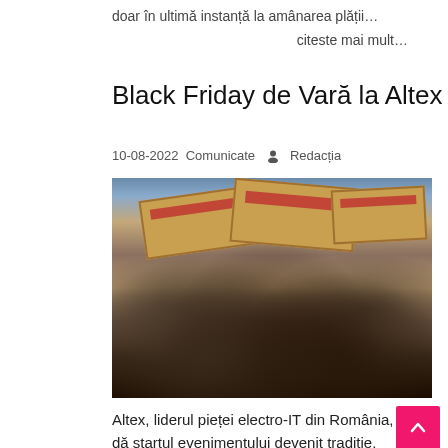doar în ultimă instanță la amânarea plății…
citeste mai mult…
Black Friday de Vară la Altex
10-08-2022 Comunicate 👤 Redacția
[Figure (photo): Crowd of shoppers carrying large cardboard boxes above their heads in a busy store during a Black Friday sale event]
Altex, liderul pieței electro-IT din România, dă startul evenimentului devenit tradiție, Black Friday de Vară, în perioada 11-17 august, Altex